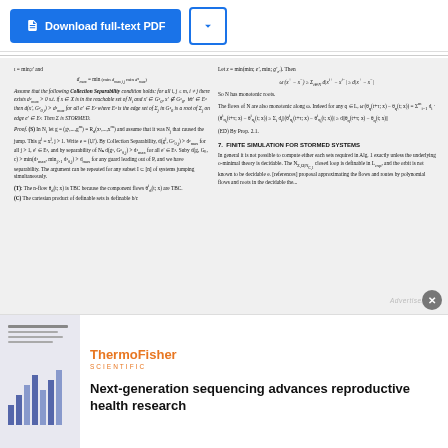[Figure (screenshot): Download full-text PDF button with blue background and a chevron/dropdown button]
ι = min; ι' and
 d_{max} = min(min d_{max,i,j} min d²_{max})

Assume that the following Collection Separability condition holds: for all i,j ≤ m, i≠j there exists d²_{max} > 0 s.t. if x ∈ X is in the reachable set of N_i and x' ∈ G²_0, x' ∉ G²_0, ∀e' ∈ E² then d(x', G²_{0,i}) > d²_{max} for all e' ∈ E² where E² is the edge set of Σ_j in G²_0 is a root of Σ_j on edge e' ∈ E². Then Σ is STORMED.
Proof. (S) In N_i let g = (g¹,...,g^m) = R_d(x¹,...,x^m) and assume that it was N_j that caused the jump. This g^j = x^j, j > 1. Write e = (l,l'). By Collection Separability, d(g^j, G²_{0,j}) > d²_{max} for all j > 1, e' ∈ E², and by separability of N₁ d(g¹, G²_{0,j}) > d¹_{max} for all e' ∈ E². Suby d(g, G₀, c) > min(d¹_{max}, min_{j>1} d²_{0,j}) > d_{max} for any guard leading out of P, and we have separability. The argument can be repeated for any subset I ⊆ [n] of systems jumping simultaneously.
(T): The n-flow θ_d(t; x) is TBC b/cause the component flows θ^i_d(t; x) are TBC.
(C) The cartesian product of definable sets is definable b/c
Let z = min(min; e', min; g'_{e'}). Then

ω·(x⁺ − x⁻) ≥ Σ_{i∈N} d|x^{i+} − x^{i−}| ≥ d|x⁺ − x⁻|

So N has monotonic roots.

The flows of N are also monotonic along ω. Indeed for any q ∈ L, ω·(θ_q(t+τ; x) − θ_q(t; x)) = Σ^m_{i=1} d_i · (θ^i_{q_i}(t+τ; x) − θ^i_{q_i}(t; x)) ≥ Σ_{i} d_i||(θ^i_{q_i}(t+τ; x) − θ^i_{q_i}(t; x))| ≥ d||θ_q(t+τ; x) − θ_q(t; x)||

(ED) By Prop. 2.1.
7. FINITE SIMULATION FOR STORMED SYSTEMS
In general it is not possible to compute either each sets required in Alg. 1 exactly unless the underlying o-minimal theory is decidable. The N_{Σ,Ω|N_{C,1}} closed loop is definable in L_{exp}, and the orbit is not known to be decidable e. [references] proposal approximating the flows and routes by polynomial flows and roots in the decidable the...
[Figure (photo): Advertisement thumbnail showing ThermoFisher Scientific branding with a small document preview containing a bar chart]
ThermoFisher
SCIENTIFIC

Next-generation sequencing advances reproductive health research